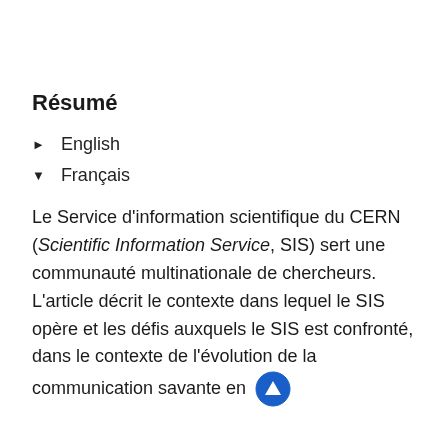Résumé
▶  English
▼  Français
Le Service d'information scientifique du CERN (Scientific Information Service, SIS) sert une communauté multinationale de chercheurs. L'article décrit le contexte dans lequel le SIS opère et les défis auxquels le SIS est confronté, dans le contexte de l'évolution de la communication savante en